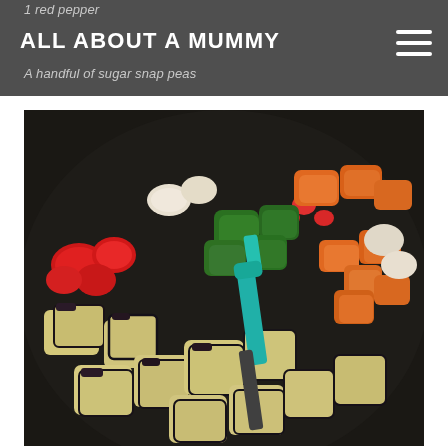1 red pepper
ALL ABOUT A MUMMY
A handful of sugar snap peas
[Figure (photo): A wok or large dark frying pan filled with chopped mixed vegetables including aubergine/eggplant (large pale chunks with purple skin), red pepper pieces, green pepper pieces, chopped carrots, and onion, being stirred with a teal/turquoise spatula.]